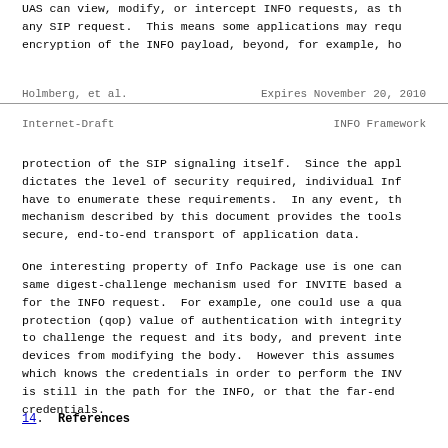UAS can view, modify, or intercept INFO requests, as th any SIP request.  This means some applications may requ encryption of the INFO payload, beyond, for example, ho
Holmberg, et al.        Expires November 20, 2010
Internet-Draft                    INFO Framework
protection of the SIP signaling itself.  Since the appl dictates the level of security required, individual Inf have to enumerate these requirements.  In any event, th mechanism described by this document provides the tools secure, end-to-end transport of application data.

One interesting property of Info Package use is one can same digest-challenge mechanism used for INVITE based a for the INFO request.  For example, one could use a qua protection (qop) value of authentication with integrity to challenge the request and its body, and prevent inte devices from modifying the body.  However this assumes  which knows the credentials in order to perform the INV is still in the path for the INFO, or that the far-end credentials.
14.  References